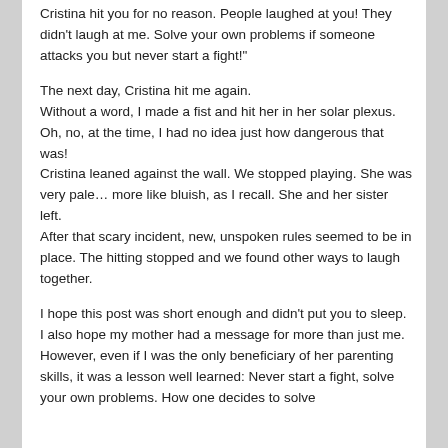Cristina hit you for no reason. People laughed at you! They didn't laugh at me. Solve your own problems if someone attacks you but never start a fight!"
The next day, Cristina hit me again. Without a word, I made a fist and hit her in her solar plexus. Oh, no, at the time, I had no idea just how dangerous that was! Cristina leaned against the wall. We stopped playing. She was very pale… more like bluish, as I recall. She and her sister left. After that scary incident, new, unspoken rules seemed to be in place. The hitting stopped and we found other ways to laugh together.
I hope this post was short enough and didn't put you to sleep. I also hope my mother had a message for more than just me. However, even if I was the only beneficiary of her parenting skills, it was a lesson well learned: Never start a fight, solve your own problems. How one decides to solve a problem is determined by their...